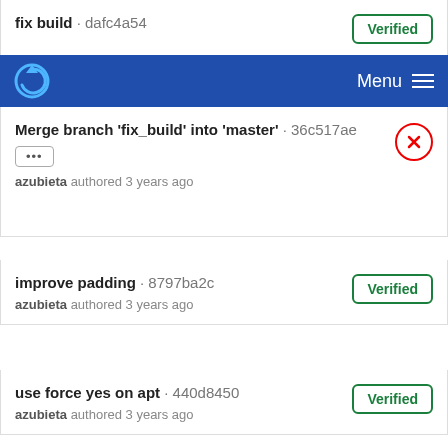fix build · dafc4a54 — Verified
[Figure (screenshot): Blue navigation bar with a circular arrow logo on the left and Menu with hamburger icon on the right]
Merge branch 'fix_build' into 'master' · 36c517ae — azubieta authored 3 years ago
improve padding · 8797ba2c — Verified — azubieta authored 3 years ago
use force yes on apt · 440d8450 — Verified — azubieta authored 3 years ago
[Figure (other): Loading spinner (circular arc)]